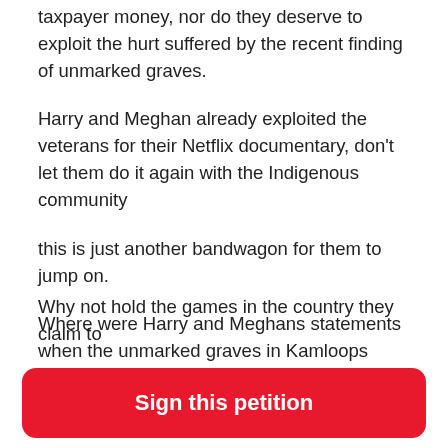taxpayer money, nor do they deserve to exploit the hurt suffered by the recent finding of unmarked graves.
Harry and Meghan already exploited the veterans for their Netflix documentary, don't let them do it again with the Indigenous community
this is just another bandwagon for them to jump on.
Where were Harry and Meghans statements when the unmarked graves in Kamloops were discovered? Or in Alberta? And many more ..
Why not hold the games in the country they claim to
Sign this petition